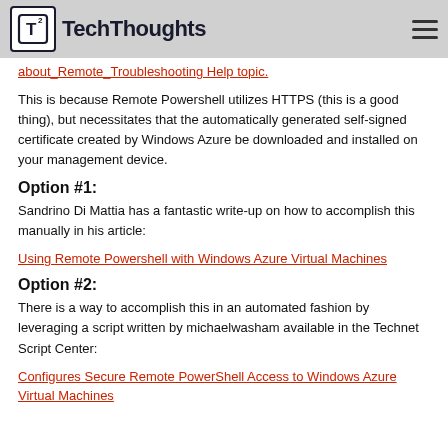TechThoughts
about_Remote_Troubleshooting Help topic.
This is because Remote Powershell utilizes HTTPS (this is a good thing), but necessitates that the automatically generated self-signed certificate created by Windows Azure be downloaded and installed on your management device.
Option #1:
Sandrino Di Mattia has a fantastic write-up on how to accomplish this manually in his article:
Using Remote Powershell with Windows Azure Virtual Machines
Option #2:
There is a way to accomplish this in an automated fashion by leveraging a script written by michaelwasham available in the Technet Script Center:
Configures Secure Remote PowerShell Access to Windows Azure Virtual Machines